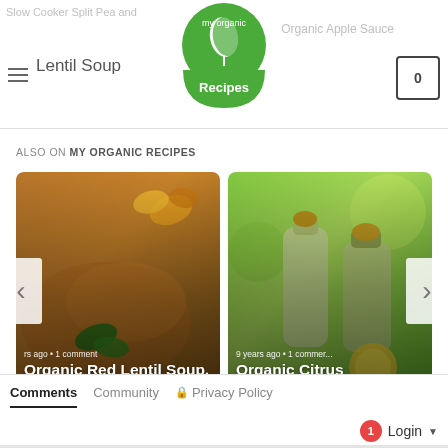Slow Cooker Split Pea and Lentil Soup | My Organic Recipes | Organic Apple Sauce
ALSO ON MY ORGANIC RECIPES
[Figure (screenshot): Carousel with two recipe cards: 'Organic Red Lentil Soup, Organic Recipes' (rs ago • 1 comment) and 'Organic Citrus Lemonade, Organic ...' (9 years ago • 1 comment), with left and right navigation arrows]
Comments  Community  Privacy Policy
1  Login